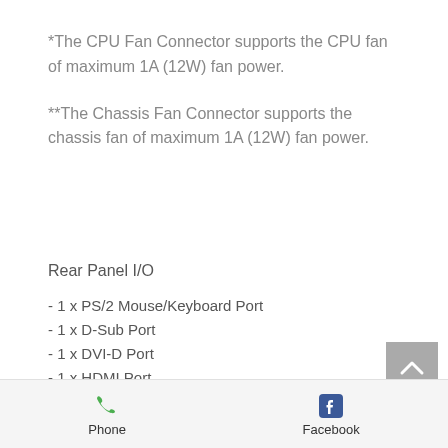*The CPU Fan Connector supports the CPU fan of maximum 1A (12W) fan power.
**The Chassis Fan Connector supports the chassis fan of maximum 1A (12W) fan power.
Rear Panel I/O
- 1 x PS/2 Mouse/Keyboard Port
- 1 x D-Sub Port
- 1 x DVI-D Port
- 1 x HDMI Port
- 2 x USB 2.0 Ports (Supports ESD Protection)
Phone   Facebook